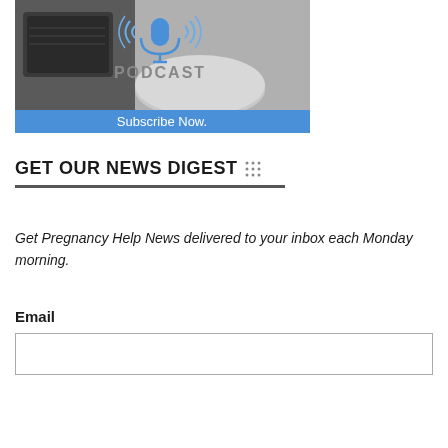[Figure (illustration): Podcast promotional banner showing a Google Home smart speaker in black and white, with a blue microphone icon and sound waves, text 'PODCAST' and a blue banner at bottom reading 'Subscribe Now.']
GET OUR NEWS DIGEST
Get Pregnancy Help News delivered to your inbox each Monday morning.
Email
Subscribe